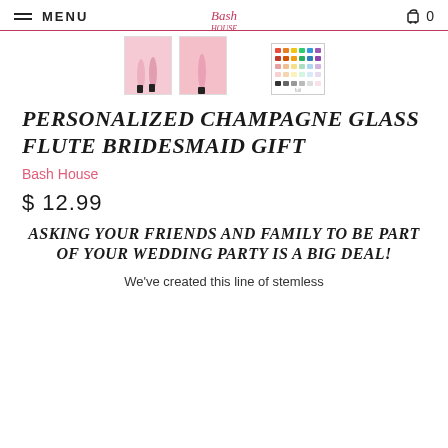MENU | Bash House | 0
[Figure (photo): Three product thumbnail images: two showing pink champagne glass flutes held by hands, one showing a color swatch chart]
PERSONALIZED CHAMPAGNE GLASS FLUTE BRIDESMAID GIFT
Bash House
$ 12.99
ASKING YOUR FRIENDS AND FAMILY TO BE PART OF YOUR WEDDING PARTY IS A BIG DEAL!
We've created this line of stemless